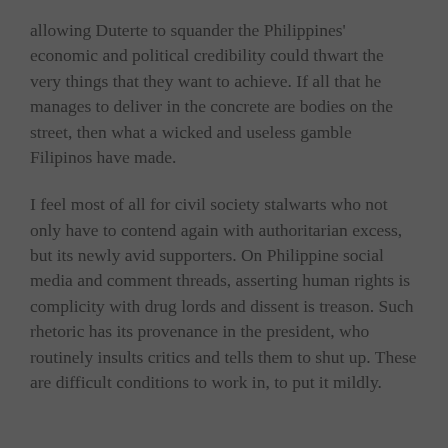allowing Duterte to squander the Philippines' economic and political credibility could thwart the very things that they want to achieve. If all that he manages to deliver in the concrete are bodies on the street, then what a wicked and useless gamble Filipinos have made.
I feel most of all for civil society stalwarts who not only have to contend again with authoritarian excess, but its newly avid supporters. On Philippine social media and comment threads, asserting human rights is complicity with drug lords and dissent is treason. Such rhetoric has its provenance in the president, who routinely insults critics and tells them to shut up. These are difficult conditions to work in, to put it mildly.